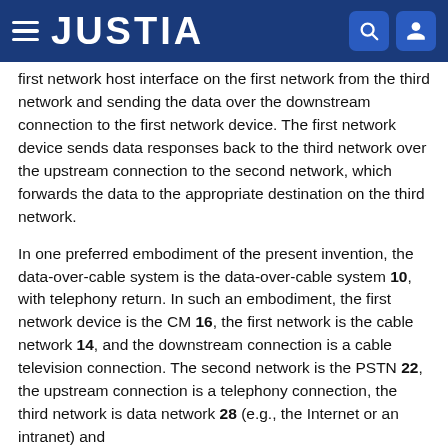JUSTIA
first network host interface on the first network from the third network and sending the data over the downstream connection to the first network device. The first network device sends data responses back to the third network over the upstream connection to the second network, which forwards the data to the appropriate destination on the third network.
In one preferred embodiment of the present invention, the data-over-cable system is the data-over-cable system 10, with telephony return. In such an embodiment, the first network device is the CM 16, the first network is the cable network 14, and the downstream connection is a cable television connection. The second network is the PSTN 22, the upstream connection is a telephony connection, the third network is data network 28 (e.g., the Internet or an intranet) and direct internet access is the 15 (e.g., access to The